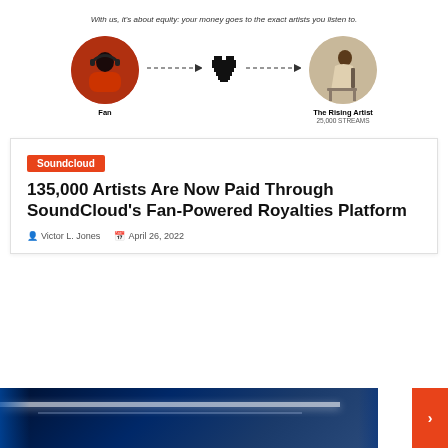With us, it's about equity: your money goes to the exact artists you listen to.
[Figure (infographic): Diagram showing a fan (person with headphones) connected via dashed arrows through a heart icon to 'The Rising Artist' (25,000 STREAMS) representing fan-powered royalties flow]
135,000 Artists Are Now Paid Through SoundCloud's Fan-Powered Royalties Platform
Soundcloud
Victor L. Jones  April 26, 2022
[Figure (photo): Interior photo of what appears to be a vehicle or transit car with blue lighting and white ceiling light strips]